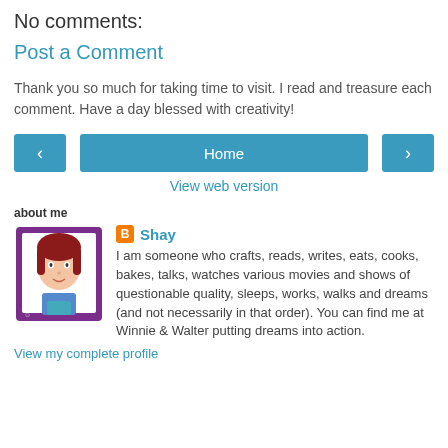No comments:
Post a Comment
Thank you so much for taking time to visit. I read and treasure each comment. Have a day blessed with creativity!
[Figure (other): Navigation bar with left arrow button, Home button, and right arrow button]
View web version
about me
[Figure (illustration): Avatar illustration of a woman with red hair in a purple frame]
Shay
I am someone who crafts, reads, writes, eats, cooks, bakes, talks, watches various movies and shows of questionable quality, sleeps, works, walks and dreams (and not necessarily in that order). You can find me at Winnie & Walter putting dreams into action.
View my complete profile